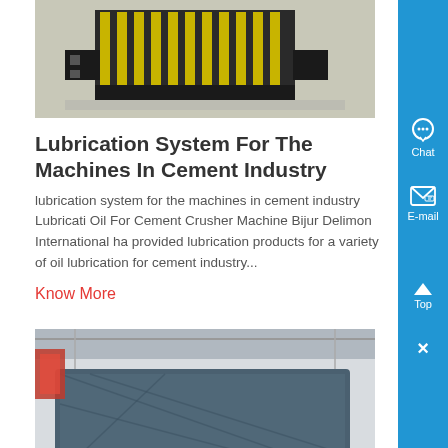[Figure (photo): Industrial machine with yellow and black striped components, mechanical parts on a gray background]
Lubrication System For The Machines In Cement Industry
lubrication system for the machines in cement industry Lubrication Oil For Cement Crusher Machine Bijur Delimon International has provided lubrication products for a variety of oil lubrication for cement industry...
Know More
[Figure (photo): Large industrial facility interior with a massive blue machine or structure on rails, red equipment visible in background]
With Automatic Lubrication System Crusher